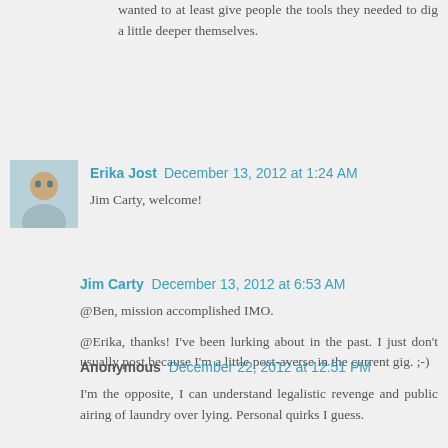wanted to at least give people the tools they needed to dig a little deeper themselves.
Erika Jost December 13, 2012 at 1:24 AM
Jim Carty, welcome!
Jim Carty December 13, 2012 at 6:53 AM
@Ben, mission accomplished IMO.
@Erika, thanks! I've been lurking about in the past. I just don't usually post because I'm a little post-averse in the current gig. ;-)
Anonymous December 22, 2012 at 12:51 PM
I'm the opposite, I can understand legalistic revenge and public airing of laundry over lying. Personal quirks I guess.